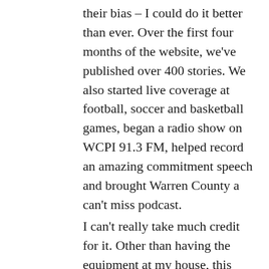their bias – I could do it better than ever. Over the first four months of the website, we've published over 400 stories. We also started live coverage at football, soccer and basketball games, began a radio show on WCPI 91.3 FM, helped record an amazing commitment speech and brought Warren County a can't miss podcast.
I can't really take much credit for it. Other than having the equipment at my house, this podcast grew because of people other than me. It's not surprising either.
I've been taping podcasts with Turner, Sullens and other coaches for years. We just called them meetings and they were never recorded or given out to the community. But the conversations were